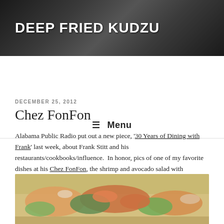DEEP FRIED KUDZU
≡ Menu
DECEMBER 25, 2012
Chez FonFon
Alabama Public Radio put out a new piece, '30 Years of Dining with Frank' last week, about Frank Stitt and his restaurants/cookbooks/influence.  In honor, pics of one of my favorite dishes at his Chez FonFon, the shrimp and avocado salad with remoulade:
[Figure (photo): Photo of a shrimp and avocado salad dish with remoulade, served on a white plate with green lettuce garnish]